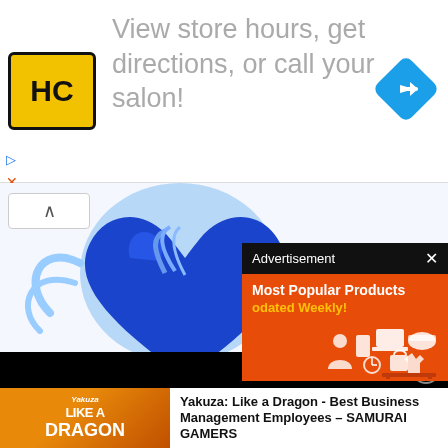[Figure (screenshot): Top banner advertisement for a hair salon app (HC logo) with text 'View store hours, get directions, or call your salon!' and a blue navigation arrow icon on the right. Has ad controls (play and close icons) on the lower left.]
[Figure (logo): Purehearts blue heart logo with 'Pureh' text visible (partially obscured by overlapping advertisement popup).]
[Figure (screenshot): Advertisement popup overlay with dark header reading 'Advertisement' and close button (x), orange body with white bold text 'Most Popular Products' and yellow text 'odated Weekly!' with product icons illustration on right side.]
The Purehearts are a social media-savvy squad that is dominating
[Figure (screenshot): Dark bar overlay with a red logo badge and circular close (X) button on the right.]
[Figure (screenshot): Yakuza: Like a Dragon game promotional ad at the bottom. Left side shows game cover art with 'Yakuza LIKE A DRAGON' logo and colorful characters. Right side has bold text: 'Yakuza: Like a Dragon - Best Business Management Employees – SAMURAI GAMERS' with a close (x) button.]